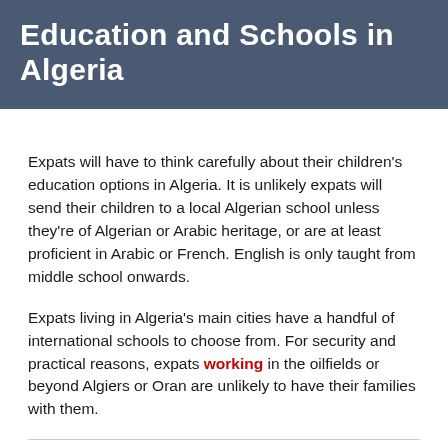Education and Schools in Algeria
Expats will have to think carefully about their children's education options in Algeria. It is unlikely expats will send their children to a local Algerian school unless they're of Algerian or Arabic heritage, or are at least proficient in Arabic or French. English is only taught from middle school onwards.
Expats living in Algeria's main cities have a handful of international schools to choose from. For security and practical reasons, expats working in the oilfields or beyond Algiers or Oran are unlikely to have their families with them.
Public schools in Algeria